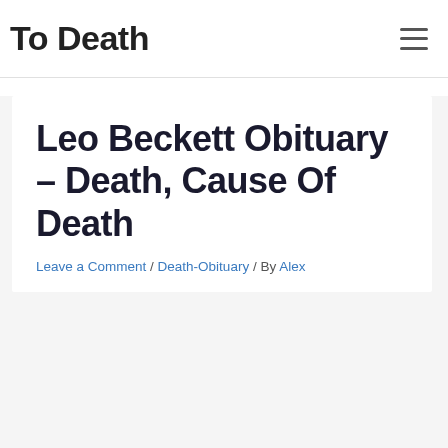To Death
Leo Beckett Obituary – Death, Cause Of Death
Leave a Comment / Death-Obituary / By Alex